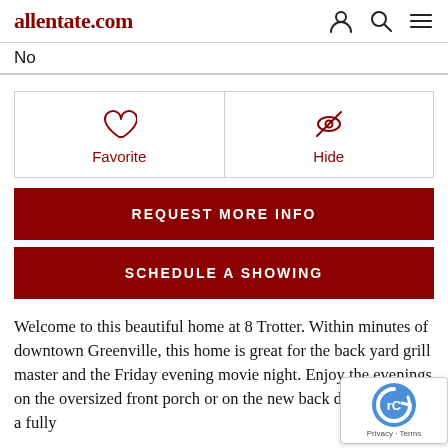allentate.com
No
[Figure (screenshot): Two action buttons side by side: Favorite (heart icon) and Hide (crossed-eye icon), both with dark red icons and labels]
REQUEST MORE INFO
SCHEDULE A SHOWING
Welcome to this beautiful home at 8 Trotter. Within minutes of downtown Greenville, this home is great for the back yard grill master and the Friday evening movie night. Enjoy the evenings on the oversized front porch or on the new back deck featuring a fully